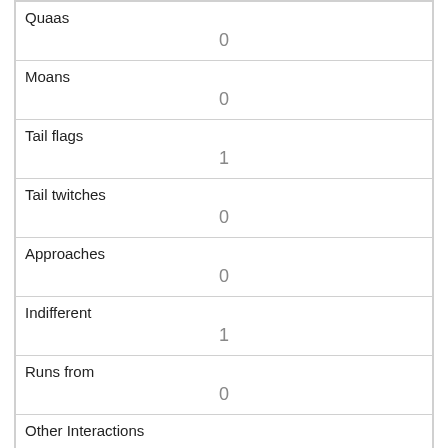| Quaas | 0 |
| Moans | 0 |
| Tail flags | 1 |
| Tail twitches | 0 |
| Approaches | 0 |
| Indifferent | 1 |
| Runs from | 0 |
| Other Interactions |  |
| Lat/Long | POINT (-73.9552861155228 40.788973931872) |
| Link | 262 |